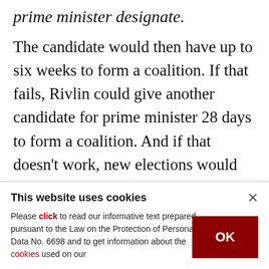prime minister designate.
The candidate would then have up to six weeks to form a coalition. If that fails, Rivlin could give another candidate for prime minister 28 days to form a coalition. And if that doesn't work, new elections would be triggered yet again. Rivlin has said he will do everything possible to avoid such a scenario and Lieberman has ruled it out as well.
Lieberman's primary stated goal is to push out
This website uses cookies
Please click to read our informative text prepared pursuant to the Law on the Protection of Personal Data No. 6698 and to get information about the cookies used on our